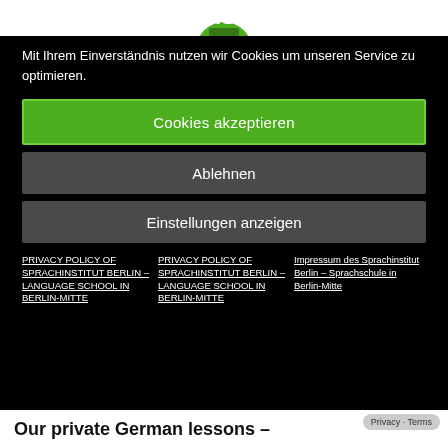[Figure (logo): Green logo icon partially visible at top]
Mit Ihrem Einverständnis nutzen wir Cookies um unseren Service zu optimieren.
Cookies akzeptieren
Ablehnen
Einstellungen anzeigen
PRIVACY POLICY OF SPRACHINSTITUT BERLIN – LANGUAGE SCHOOL IN BERLIN-MITTE
PRIVACY POLICY OF SPRACHINSTITUT BERLIN – LANGUAGE SCHOOL IN BERLIN-MITTE
Impressum des Sprachinstitut Berlin – Sprachschule in Berlin-Mitte
Our private German lessons –